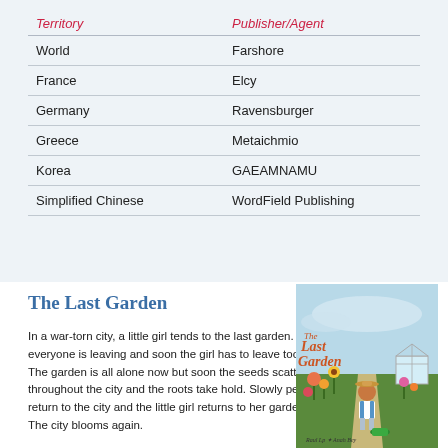| Territory | Publisher/Agent |
| --- | --- |
| World | Farshore |
| France | Elcy |
| Germany | Ravensburger |
| Greece | Metaichmio |
| Korea | GAEAMNAMU |
| Simplified Chinese | WordField Publishing |
The Last Garden
In a war-torn city, a little girl tends to the last garden. But everyone is leaving and soon the girl has to leave too. The garden is all alone now but soon the seeds scatter throughout the city and the roots take hold. Slowly people return to the city and the little girl returns to her garden. The city blooms again.
[Figure (illustration): Book cover of 'The Last Garden' showing a illustrated girl in a garden with flowers and a greenhouse, title in orange script text, authors listed as Raul Lp and Anah Bey]